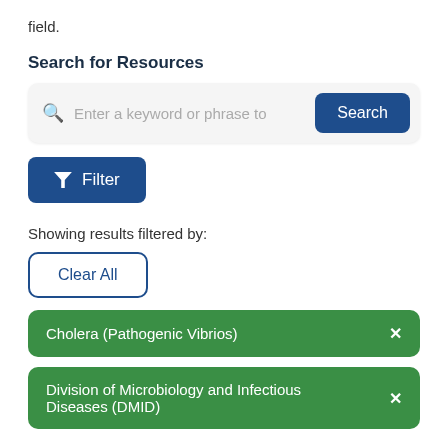field.
Search for Resources
[Figure (screenshot): Search bar UI element with magnifying glass icon, placeholder text 'Enter a keyword or phrase to', and a dark blue 'Search' button]
[Figure (screenshot): Dark blue 'Filter' button with funnel/filter icon]
Showing results filtered by:
[Figure (screenshot): White 'Clear All' button with blue border]
[Figure (screenshot): Green filter tag: 'Cholera (Pathogenic Vibrios) x']
[Figure (screenshot): Green filter tag: 'Division of Microbiology and Infectious Diseases (DMID) x' (partially visible)]